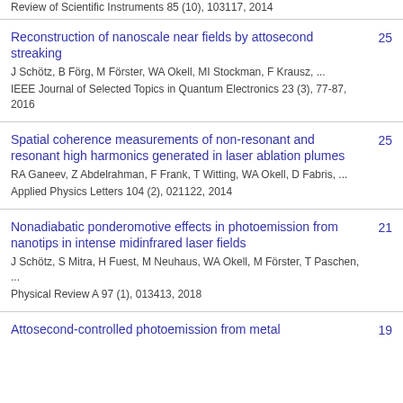Review of Scientific Instruments 85 (10), 103117, 2014
Reconstruction of nanoscale near fields by attosecond streaking
J Schötz, B Förg, M Förster, WA Okell, MI Stockman, F Krausz, ...
IEEE Journal of Selected Topics in Quantum Electronics 23 (3), 77-87, 2016
25
Spatial coherence measurements of non-resonant and resonant high harmonics generated in laser ablation plumes
RA Ganeev, Z Abdelrahman, F Frank, T Witting, WA Okell, D Fabris, ...
Applied Physics Letters 104 (2), 021122, 2014
25
Nonadiabatic ponderomotive effects in photoemission from nanotips in intense midinfrared laser fields
J Schötz, S Mitra, H Fuest, M Neuhaus, WA Okell, M Förster, T Paschen, ...
Physical Review A 97 (1), 013413, 2018
21
Attosecond-controlled photoemission from metal
19